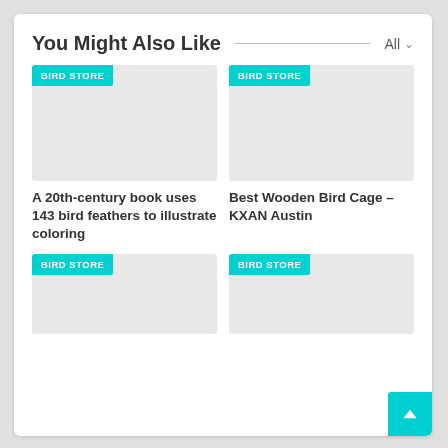You Might Also Like
[Figure (screenshot): Gray placeholder image with BIRD STORE teal badge (top-left card)]
[Figure (screenshot): Gray placeholder image with BIRD STORE teal badge (top-right card)]
A 20th-century book uses 143 bird feathers to illustrate coloring
Best Wooden Bird Cage – KXAN Austin
[Figure (screenshot): Gray placeholder image with BIRD STORE teal badge (bottom-left card)]
[Figure (screenshot): Gray placeholder image with BIRD STORE teal badge (bottom-right card)]